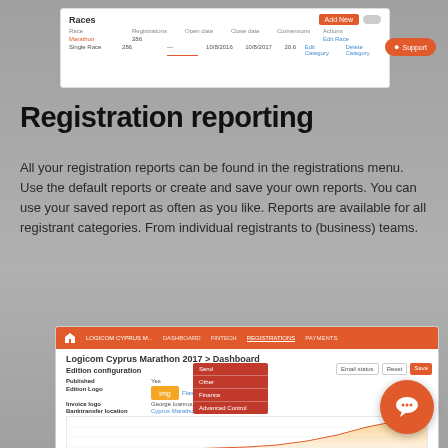[Figure (screenshot): Screenshot of a Races admin panel with table showing race entries, registrations, open/close dates, conversions, actions, and an Add New button with a toggle switch. A Support button is visible on the right.]
Registration reporting
All your registration reports can be found in the registrations menu. Use the default reports or create and save your own reports. You can use your saved report as often as you like. Reports are available for all registrant categories. From individual registrants to (business) teams.
[Figure (screenshot): Screenshot of a race registration dashboard showing Logicom Cyprus Marathon 2017 event configuration page with navigation menu dropdown open, edition configuration fields, and a line/area chart at the bottom showing registration growth over time.]